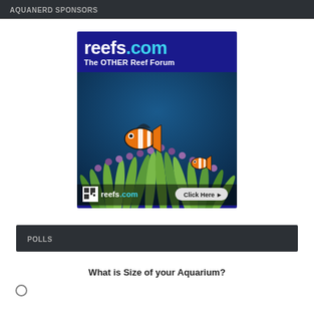AQUANERD SPONSORS
[Figure (illustration): reefs.com advertisement banner showing clownfish in sea anemone with text 'reefs.com The OTHER Reef Forum' and 'Click Here' button]
POLLS
What is Size of your Aquarium?